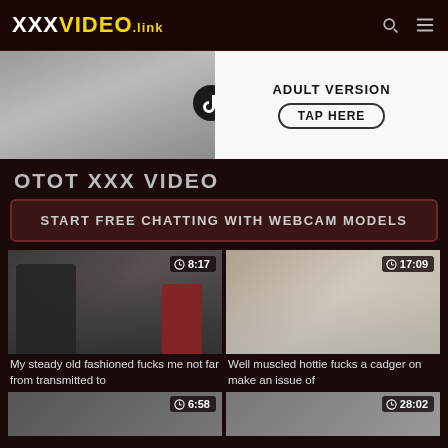XXXVIDEO.link
[Figure (photo): Ad banner for adult version of TikTok with TAP HERE button]
OTOT XXX VIDEO
START FREE CHATTING WITH WEBCAM MODELS
[Figure (photo): Video thumbnail - kitchen scene, duration 8:17]
My steady old fashioned fucks me not far from transmitted to
[Figure (photo): Video thumbnail - fitness scene, duration 17:09]
Well muscled hottie fucks a cadger on make an issue of
[Figure (photo): Video thumbnail - duration 6:58]
[Figure (photo): Video thumbnail - duration 28:02]